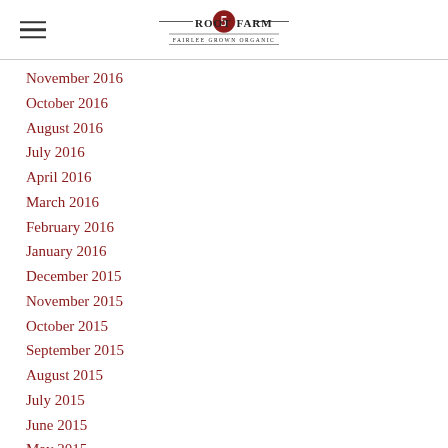Root 5 Farm — Fairlee Grown Organic
November 2016
October 2016
August 2016
July 2016
April 2016
March 2016
February 2016
January 2016
December 2015
November 2015
October 2015
September 2015
August 2015
July 2015
June 2015
May 2015
April 2015